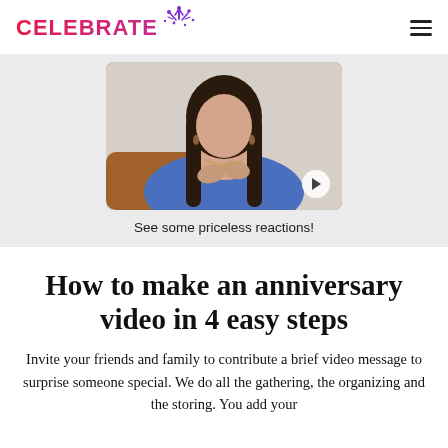CELEBRATE
[Figure (photo): A woman with long dark hair wearing a blue top and brown jacket, with hands on her chest, video thumbnail with play button overlay]
See some priceless reactions!
How to make an anniversary video in 4 easy steps
Invite your friends and family to contribute a brief video message to surprise someone special. We do all the gathering, the organizing and the storing. You add your